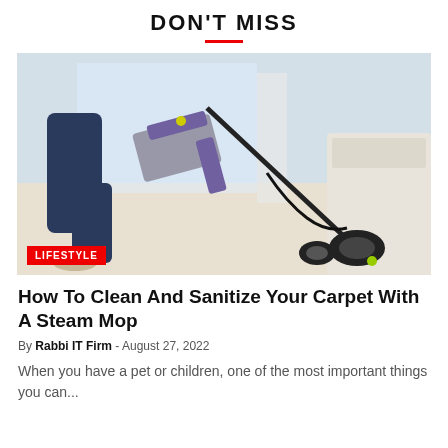DON'T MISS
[Figure (photo): Person using a purple and silver upright carpet cleaner/steam mop on a light carpet near a sofa]
LIFESTYLE
How To Clean And Sanitize Your Carpet With A Steam Mop
By Rabbi IT Firm - August 27, 2022
When you have a pet or children, one of the most important things you can...